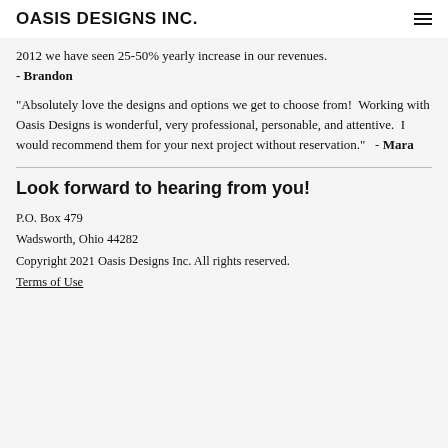OASIS DESIGNS INC.
2012 we have seen 25-50% yearly increase in our revenues.
- Brandon
"Absolutely love the designs and options we get to choose from!  Working with Oasis Designs is wonderful, very professional, personable, and attentive.  I would recommend them for your next project without reservation."  - Mara
Look forward to hearing from you!
P.O. Box 479
Wadsworth, Ohio 44282
Copyright 2021 Oasis Designs Inc. All rights reserved.
Terms of Use